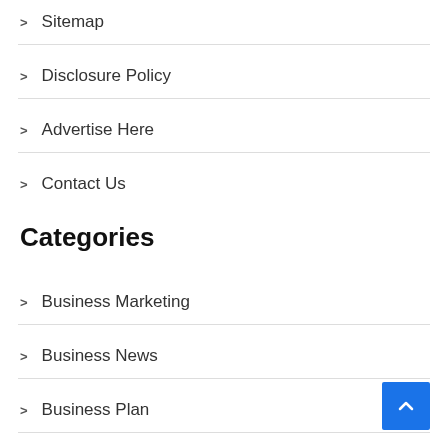> Sitemap
> Disclosure Policy
> Advertise Here
> Contact Us
Categories
> Business Marketing
> Business News
> Business Plan
> Business Strategy